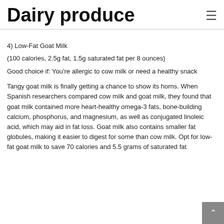Dairy produce
4) Low-Fat Goat Milk
(100 calories, 2.5g fat, 1.5g saturated fat per 8 ounces)
Good choice if: You're allergic to cow milk or need a healthy snack
Tangy goat milk is finally getting a chance to show its horns. When Spanish researchers compared cow milk and goat milk, they found that goat milk contained more heart-healthy omega-3 fats, bone-building calcium, phosphorus, and magnesium, as well as conjugated linoleic acid, which may aid in fat loss. Goat milk also contains smaller fat globules, making it easier to digest for some than cow milk. Opt for low-fat goat milk to save 70 calories and 5.5 grams of saturated fat